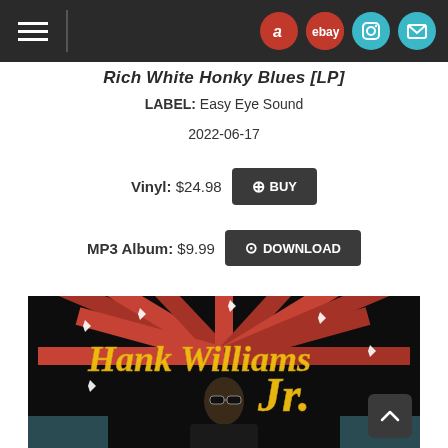Rich White Honky Blues [LP]
LABEL: Easy Eye Sound
2022-06-17
Vinyl: $24.98  + BUY
MP3 Album: $9.99  DOWNLOAD
[Figure (photo): Album cover for Hank Williams Jr. - Rich White Honky Blues [LP]. Shows a man wearing sunglasses and a black leather jacket in front of a neon-style sign reading 'Hank Williams Jr.' with radiating red and orange lines on a dark background.]